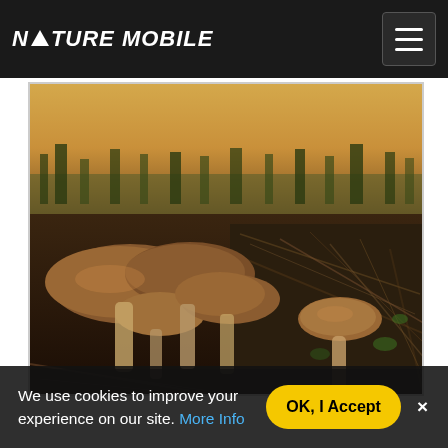NATURE MOBILE
[Figure (photo): Close-up photograph of a cluster of wild mushrooms growing on the ground among dried grass, twigs, and forest debris. The mushrooms have brown caps of varying sizes. Background shows a field with trees and warm golden light on the horizon.]
We use cookies to improve your experience on our site. More Info